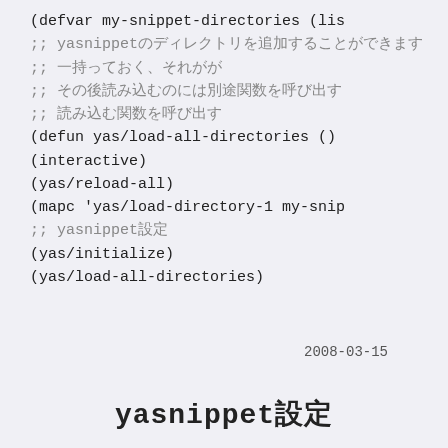(defvar my-snippet-directories (lis
;; yasnippetのディレクトリを追加することができます
;; 一持っておく、それが複数ならリストで指定する
;; その後読み込むのには別途関数を呼び出す
;; 読み込む関数を呼び出す
(defun yas/load-all-directories ()
(interactive)
(yas/reload-all)
(mapc 'yas/load-directory-1 my-snip
;; yasnippet設定
(yas/initialize)
(yas/load-all-directories)
2008-03-15
yasnippet設定